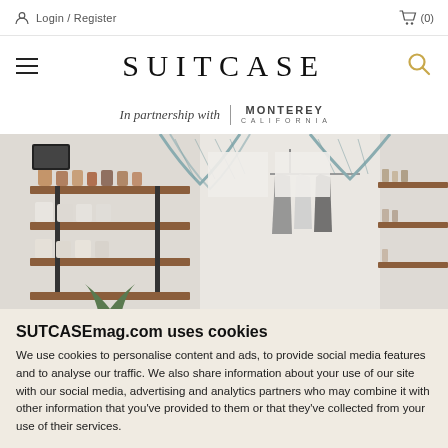Login / Register   (0)
SUITCASE
In partnership with  MONTEREY CALIFORNIA
[Figure (photo): Interior of a boutique shop with wooden shelves holding ceramics, candles and jars on the left, clothing hung on wall hooks in the centre, and shelves with beauty/wellness products on the right, with hanging rope/net light fixtures from the ceiling.]
SUTCASEmag.com uses cookies
We use cookies to personalise content and ads, to provide social media features and to analyse our traffic. We also share information about your use of our site with our social media, advertising and analytics partners who may combine it with other information that you've provided to them or that they've collected from your use of their services.